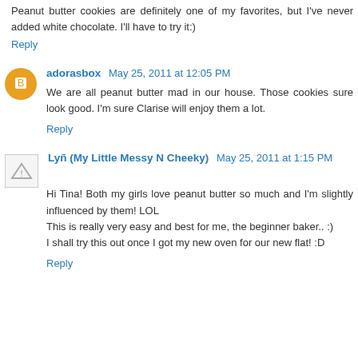Peanut butter cookies are definitely one of my favorites, but I've never added white chocolate. I'll have to try it:)
Reply
adorasbox May 25, 2011 at 12:05 PM
We are all peanut butter mad in our house. Those cookies sure look good. I'm sure Clarise will enjoy them a lot.
Reply
Lyñ (My Little Messy N Cheeky) May 25, 2011 at 1:15 PM
Hi Tina! Both my girls love peanut butter so much and I'm slightly influenced by them! LOL
This is really very easy and best for me, the beginner baker.. :)
I shall try this out once I got my new oven for our new flat! :D
Reply